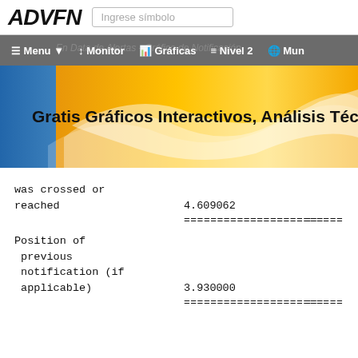[Figure (screenshot): ADVFN website header with logo, search box, navigation bar with Menu, Monitor, Gráficas, Nivel 2, Mun options, and a banner saying 'Gratis Gráficos Interactivos, Análisis Técn...']
| Label | Value | Extra |
| --- | --- | --- |
| was crossed or reached | 4.609062 |  |
| ======================== | === |
| Position of previous notification (if applicable) | 3.930000 |  |
| ======================== | === |